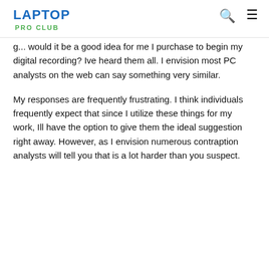LAPTOP PRO CLUB
g... would it be a good idea for me I purchase to begin my digital recording? Ive heard them all. I envision most PC analysts on the web can say something very similar.
My responses are frequently frustrating. I think individuals frequently expect that since I utilize these things for my work, Ill have the option to give them the ideal suggestion right away. However, as I envision numerous contraption analysts will tell you that is a lot harder than you suspect.